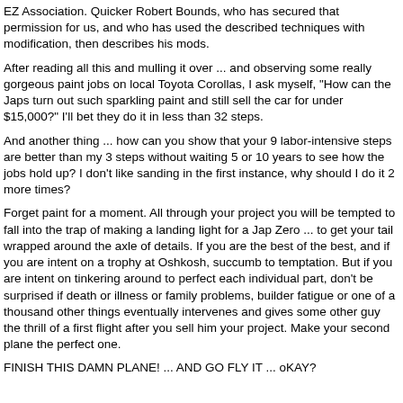EZ Association. Quicker Robert Bounds, who has secured that permission for us, and who has used the described techniques with modification, then describes his mods.
After reading all this and mulling it over ... and observing some really gorgeous paint jobs on local Toyota Corollas, I ask myself, "How can the Japs turn out such sparkling paint and still sell the car for under $15,000?" I'll bet they do it in less than 32 steps.
And another thing ... how can you show that your 9 labor-intensive steps are better than my 3 steps without waiting 5 or 10 years to see how the jobs hold up? I don't like sanding in the first instance, why should I do it 2 more times?
Forget paint for a moment. All through your project you will be tempted to fall into the trap of making a landing light for a Jap Zero ... to get your tail wrapped around the axle of details. If you are the best of the best, and if you are intent on a trophy at Oshkosh, succumb to temptation. But if you are intent on tinkering around to perfect each individual part, don't be surprised if death or illness or family problems, builder fatigue or one of a thousand other things eventually intervenes and gives some other guy the thrill of a first flight after you sell him your project. Make your second plane the perfect one.
FINISH THIS DAMN PLANE! ... AND GO FLY IT ... oKAY?